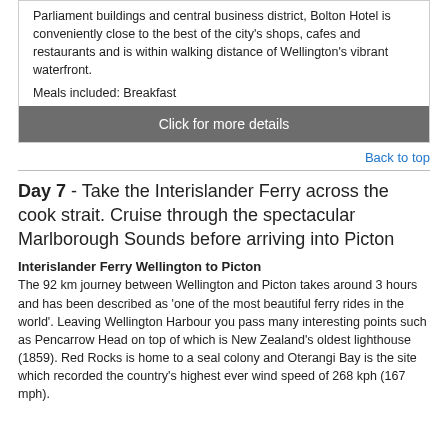Parliament buildings and central business district, Bolton Hotel is conveniently close to the best of the city's shops, cafes and restaurants and is within walking distance of Wellington's vibrant waterfront.
Meals included: Breakfast
Click for more details
Back to top
Day 7 - Take the Interislander Ferry across the cook strait. Cruise through the spectacular Marlborough Sounds before arriving into Picton
Interislander Ferry Wellington to Picton
The 92 km journey between Wellington and Picton takes around 3 hours and has been described as 'one of the most beautiful ferry rides in the world'. Leaving Wellington Harbour you pass many interesting points such as Pencarrow Head on top of which is New Zealand's oldest lighthouse (1859). Red Rocks is home to a seal colony and Oterangi Bay is the site which recorded the country's highest ever wind speed of 268 kph (167 mph).